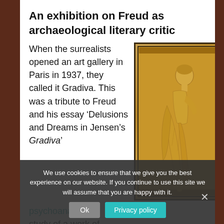An exhibition on Freud as archaeological literary critic
When the surrealists opened an art gallery in Paris in 1937, they called it Gradiva. This was a tribute to Freud and his essay ‘Delusions and Dreams in Jensen’s Gradiva’
[Figure (photo): A bronze or golden relief plaque depicting a classical female figure in robes, walking in profile, framed within a rectangular border.]
psychoanalytic study of a work of literature. The title of Jensen’s book referred to a
We use cookies to ensure that we give you the best experience on our website. If you continue to use this site we will assume that you are happy with it.